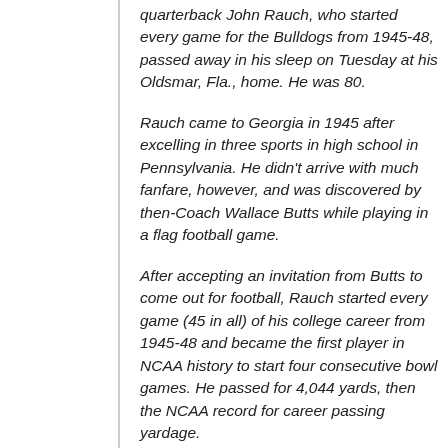quarterback John Rauch, who started every game for the Bulldogs from 1945-48, passed away in his sleep on Tuesday at his Oldsmar, Fla., home. He was 80.
Rauch came to Georgia in 1945 after excelling in three sports in high school in Pennsylvania. He didn't arrive with much fanfare, however, and was discovered by then-Coach Wallace Butts while playing in a flag football game.
After accepting an invitation from Butts to come out for football, Rauch started every game (45 in all) of his college career from 1945-48 and became the first player in NCAA history to start four consecutive bowl games. He passed for 4,044 yards, then the NCAA record for career passing yardage.